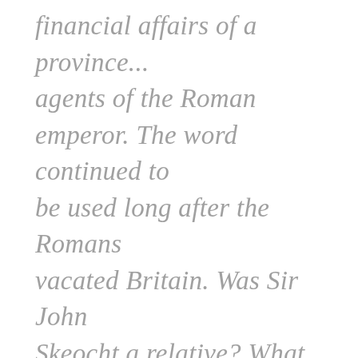financial affairs of a province... agents of the Roman emperor.  The word  continued to be used  long after the Romans vacated Britain.  Was Sir John Skeocht a relative?   What would  the city be like.  A family letter written in 1866 was not comforting. " We too often see daily in our streets the degrading effects of alcohol; not to speak of